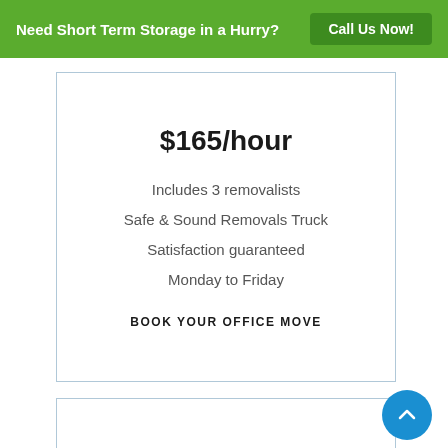Need Short Term Storage in a Hurry? Call Us Now!
$165/hour
Includes 3 removalists
Safe & Sound Removals Truck
Satisfaction guaranteed
Monday to Friday
BOOK YOUR OFFICE MOVE
[Figure (illustration): Document/file icon in blue outline style, partially visible at bottom of page]